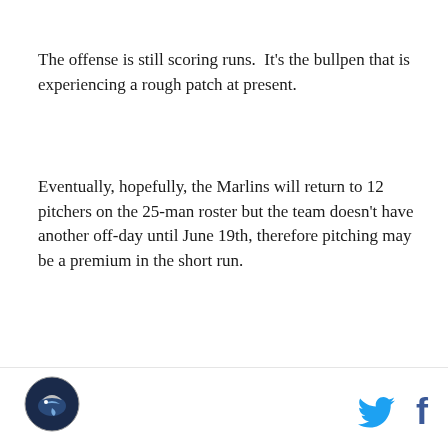The offense is still scoring runs.  It's the bullpen that is experiencing a rough patch at present.
Eventually, hopefully, the Marlins will return to 12 pitchers on the 25-man roster but the team doesn't have another off-day until June 19th, therefore pitching may be a premium in the short run.
[Figure (other): DraftKings Sportsbook betting widget with green header showing 'Bet Now!' button and DraftKings logo, and white body showing 'Pablo Lopez']
[Figure (logo): Fish Stripes / Marlins blog circular logo - dark blue circle with fish/bird graphic]
[Figure (other): Twitter bird icon in light blue and Facebook 'f' icon in dark blue, social media sharing buttons]